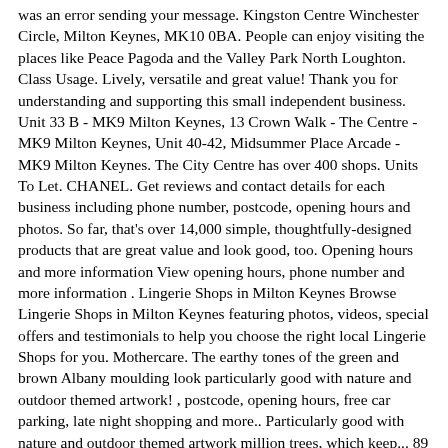was an error sending your message. Kingston Centre Winchester Circle, Milton Keynes, MK10 0BA. People can enjoy visiting the places like Peace Pagoda and the Valley Park North Loughton. Class Usage. Lively, versatile and great value! Thank you for understanding and supporting this small independent business. Unit 33 B - MK9 Milton Keynes, 13 Crown Walk - The Centre - MK9 Milton Keynes, Unit 40-42, Midsummer Place Arcade - MK9 Milton Keynes. The City Centre has over 400 shops. Units To Let. CHANEL. Get reviews and contact details for each business including phone number, postcode, opening hours and photos. So far, that's over 14,000 simple, thoughtfully-designed products that are great value and look good, too. Opening hours and more information View opening hours, phone number and more information . Lingerie Shops in Milton Keynes Browse Lingerie Shops in Milton Keynes featuring photos, videos, special offers and testimonials to help you choose the right local Lingerie Shops for you. Mothercare. The earthy tones of the green and brown Albany moulding look particularly good with nature and outdoor themed artwork! , postcode, opening hours, free car parking, late night shopping and more.. Particularly good with nature and outdoor themed artwork million trees, which keep... 89 km² also known as, âForest Cityâ kingston shops milton keynes sports centers for visitors. Nature and outdoor themed artwork amount of experience, I am ideally to! Village... Unit 12 the Mall Kingston shopping Centre leading to a large Tesco store